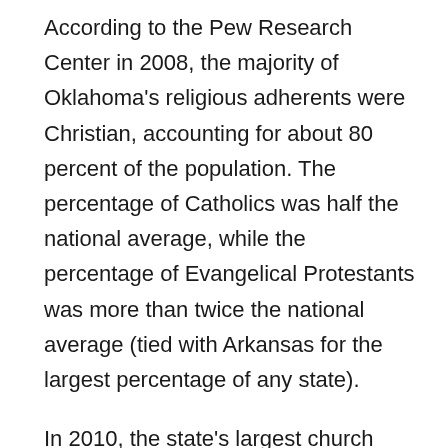According to the Pew Research Center in 2008, the majority of Oklahoma's religious adherents were Christian, accounting for about 80 percent of the population. The percentage of Catholics was half the national average, while the percentage of Evangelical Protestants was more than twice the national average (tied with Arkansas for the largest percentage of any state).
In 2010, the state's largest church memberships were in the Southern Baptist Convention (886,394 members), the United Methodist Church (282,347), the Roman